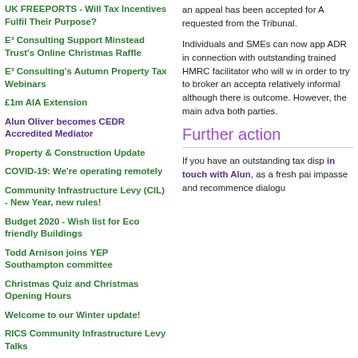UK FREEPORTS - Will Tax Incentives Fulfil Their Purpose?
E³ Consulting Support Minstead Trust's Online Christmas Raffle
E³ Consulting's Autumn Property Tax Webinars
£1m AIA Extension
Alun Oliver becomes CEDR Accredited Mediator
Property & Construction Update
COVID-19: We're operating remotely
Community Infrastructure Levy (CIL) - New Year, new rules!
Budget 2020 - Wish list for Eco friendly Buildings
Todd Arnison joins YEP Southampton committee
Christmas Quiz and Christmas Opening Hours
Welcome to our Winter update!
RICS Community Infrastructure Levy Talks
University Award for Apprentice Talks
an appeal has been accepted for A requested from the Tribunal.
Individuals and SMEs can now app ADR in connection with outstanding trained HMRC facilitator who will w in order to try to broker an accepta relatively informal although there is outcome. However, the main adva both parties.
Further action
If you have an outstanding tax disp in touch with Alun, as a fresh pai impasse and recommence dialogu